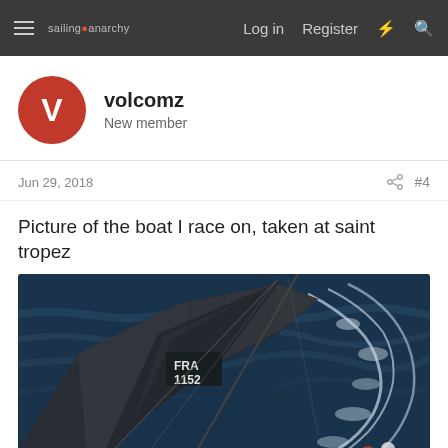sailing anarchy | Log in | Register
volcomz
New member
Jun 29, 2018
#4
Picture of the boat I race on, taken at saint tropez
[Figure (photo): Aerial photograph of a racing sailboat with 'FRA 1152' markings on the sail, sailing on dark blue water at Saint Tropez. The image is taken from above showing the mainsail and foamy wake of the boat.]